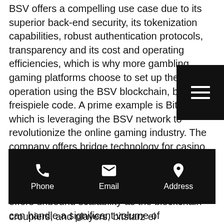BSV offers a compelling use case due to its superior back-end security, its tokenization capabilities, robust authentication protocols, transparency and its cost and operating efficiencies, which is why more gambling gaming platforms choose to set up their operation using the BSV blockchain, bitstarz freispiele code. A prime example is BitBoss, which is leveraging the BSV network to revolutionize the online gaming industry. The company offers bridge technology for casino games, which proves games are fair by allowing players to reproduce results on the WhatsOnChain third party website. BSV also offers unbound scalability as the blockchain can handle a significant volume of transactions simultaneously while keeping fees low and the blockchain secure, stable
[Figure (other): Hamburger menu button — black square with three white horizontal lines]
[Figure (infographic): Black contact bar with three items: Phone (handset icon), Email (envelope icon), Address (map pin icon)]
croupiers, and players, bitstarz ei